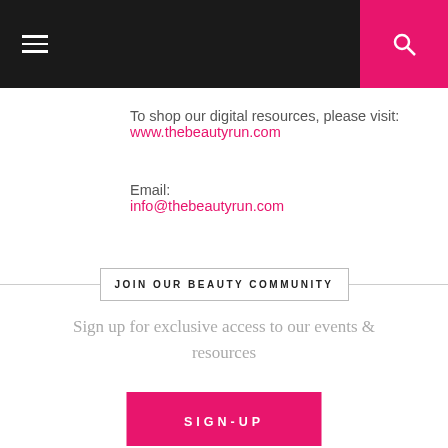Navigation header with hamburger menu and search icon
To shop our digital resources, please visit:
www.thebeautyrun.com
Email:
info@thebeautyrun.com
JOIN OUR BEAUTY COMMUNITY
Sign up for exclusive access to our events & resources
SIGN-UP